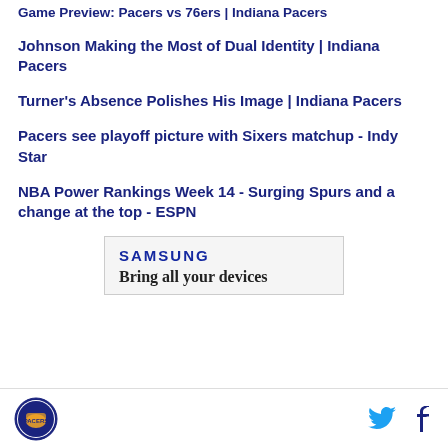Game Preview: Pacers vs 76ers | Indiana Pacers
Johnson Making the Most of Dual Identity | Indiana Pacers
Turner's Absence Polishes His Image | Indiana Pacers
Pacers see playoff picture with Sixers matchup - Indy Star
NBA Power Rankings Week 14 - Surging Spurs and a change at the top - ESPN
[Figure (advertisement): Samsung advertisement showing 'SAMSUNG' logo and tagline 'Bring all your devices']
Indiana Pacers logo, Twitter icon, Facebook icon